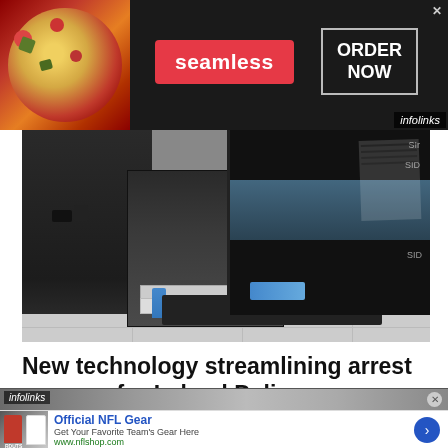[Figure (other): Seamless food delivery advertisement banner with pizza image on left, red Seamless logo in center, and ORDER NOW button on right against dark background]
[Figure (photo): Police officer in black uniform using a printer/fingerprinting equipment at a desk with a computer monitor visible in the background showing biometric data]
New technology streamlining arrest process for Leland Police Department
[Figure (photo): Infolinks advertisement banner showing a landscape/outdoor scene]
[Figure (other): Official NFL Gear advertisement with NFL jerseys image, blue title text, subtitle 'Get Your Favorite Team's Gear Here', URL www.nflshop.com, and blue arrow button]